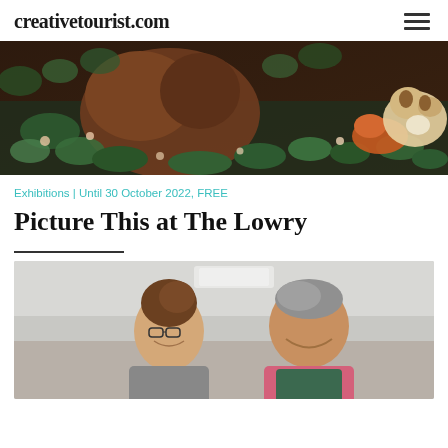creativetourist.com
[Figure (illustration): Decorative illustration with animals including a large bear/hedgehog and a dog/fox surrounded by dense floral foliage on a dark background]
Exhibitions | Until 30 October 2022, FREE
Picture This at The Lowry
[Figure (photo): Two people laughing together in what appears to be a workshop or studio setting; a woman with glasses and a man in a pink shirt wearing a green apron]